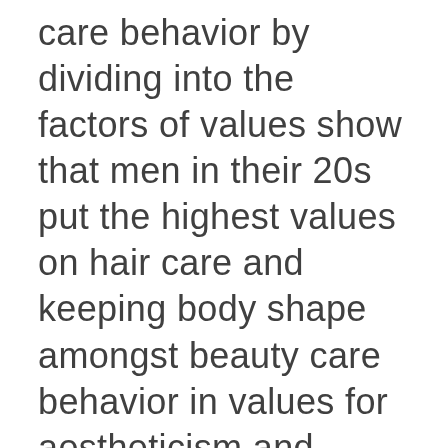care behavior by dividing into the factors of values show that men in their 20s put the highest values on hair care and keeping body shape amongst beauty care behavior in values for aestheticism and utilitarianism. Results indicate that hair care is the most basic beauty care behavior for men, and men place the